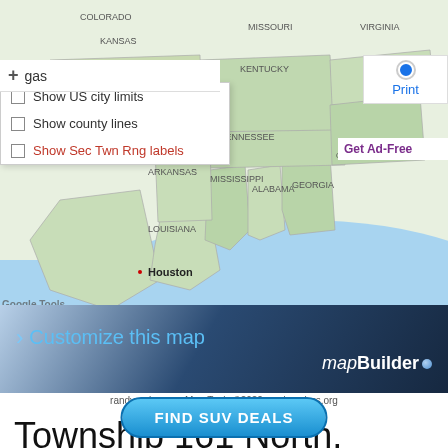[Figure (map): Google Maps screenshot showing southeastern United States including states like Texas, Louisiana, Mississippi, Alabama, Georgia, Tennessee, Kentucky, Arkansas, Oklahoma with Houston labeled. Map has overlay dropdown menu showing checkboxes for city limits, county lines, and Sec Twn Rng labels. Print button and blue location dot visible top right.]
Show US city limits
Show county lines
Show Sec Twn Rng labels
[Figure (infographic): mapBuilder banner with text 'Customize this map' in blue and 'mapBuilder' in white italic on dark blue gradient background]
randymajors.org Map Tools ©2022 randymajors.org
Township 161 North, Range 36 West, 5th Principal Meridian, Minne…